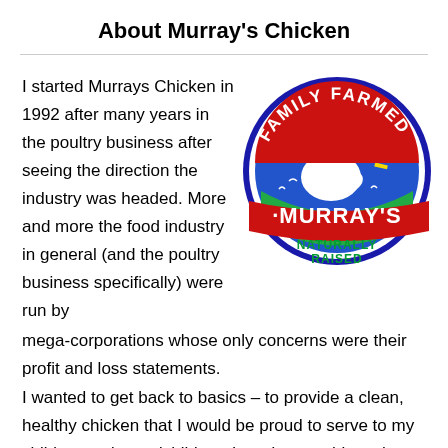About Murray's Chicken
I started Murrays Chicken in 1992 after many years in the poultry business after seeing the direction the industry was headed. More and more the food industry in general (and the poultry business specifically) were run by mega-corporations whose only concerns were their profit and loss statements.
[Figure (logo): Murray's Chicken circular logo: 'Family Farmed' text at top in red arc, a white chicken with sun/rays behind it in center circle, 'Murray's' on a red banner, 'Naturally Raised' in green text at bottom, blue border]
I wanted to get back to basics – to provide a clean, healthy chicken that I would be proud to serve to my children and grandchildren. In order to achieve these, Murray's chickens are never administered antibiotics and are fed a vegetable-based diet free of animal fats and animal by-products. Our chickens are